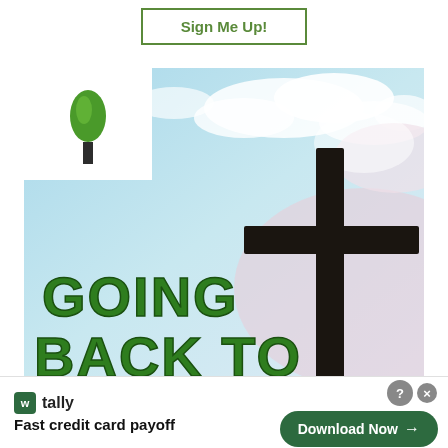[Figure (other): Button with text 'Sign Me Up!' styled with green border]
[Figure (photo): Church promotional image showing a cross against a blue sky with clouds. In the top-left corner is a logo of a green tree. At the bottom of the image is bold green text reading 'GOING BACK TO' (partially visible). The image promotes a 'Going Back to...' church event.]
[Figure (other): Advertisement banner for Tally app — 'Fast credit card payoff' with a 'Download Now' button and close/help icons]